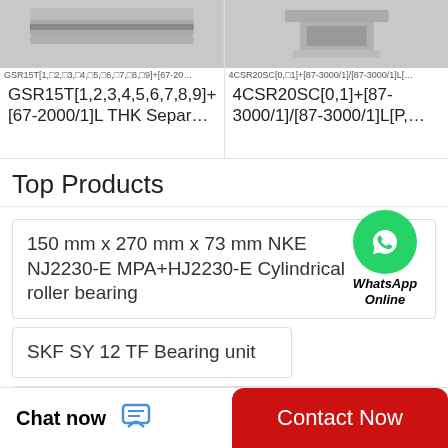[Figure (photo): Product image for GSR15T linear guide rail - top cropped view showing gray metal rail]
GSR15T[1,□2,□3,□4,□5,□6,□7,□8,□9]+[67-20…
GSR15T[1,2,3,4,5,6,7,8,9]+[67-2000/1]L THK Separ…
[Figure (photo): Product image for 4CSR20SC linear guide - top cropped view showing gray metal part]
4CSR20SC[0,□1]+[87-3000/1]/[87-3000/1]L[…
4CSR20SC[0,1]+[87-3000/1]/[87-3000/1]L[P,…
Top Products
150 mm x 270 mm x 73 mm NKE NJ2230-E MPA+HJ2230-E Cylindrical roller bearing
[Figure (logo): WhatsApp green circle icon with phone handset, labeled WhatsApp Online]
SKF SY 12 TF Bearing unit
17 mm x 40 mm x 12 mm SKF NUP 203 ECP Push ball bearings
Chat now
Contact Now